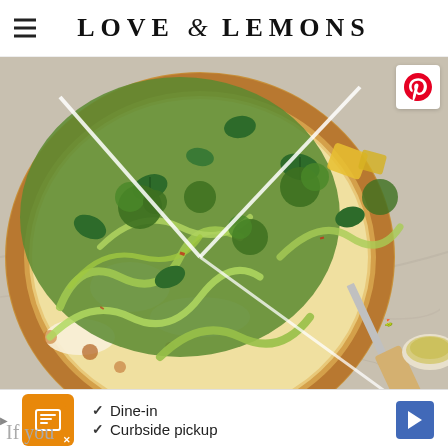LOVE & LEMONS
[Figure (photo): Overhead photo of a sliced vegetarian pizza topped with zucchini ribbons, broccoli pesto, basil leaves, and cheese, on a marble surface with a knife and small bowl of olive oil]
Dine-in
Curbside pickup
If you